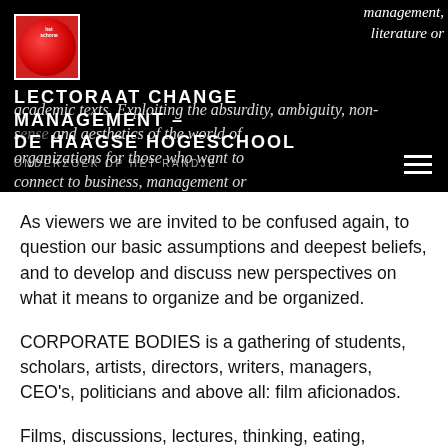[Figure (logo): Red circular logo for Lectoraat Change Management with white text]
LECTORAAT CHANGE MANAGEMENT – DE HAAGSE HOGESCHOOL
ONDERZOEK OP HET RANDJE
As viewers we are invited to be confused again, to question our basic assumptions and deepest beliefs, and to develop and discuss new perspectives on what it means to organize and be organized.
CORPORATE BODIES is a gathering of students, scholars, artists, directors, writers, managers, CEO's, politicians and above all: film aficionados.
Films, discussions, lectures, thinking, eating, drinking